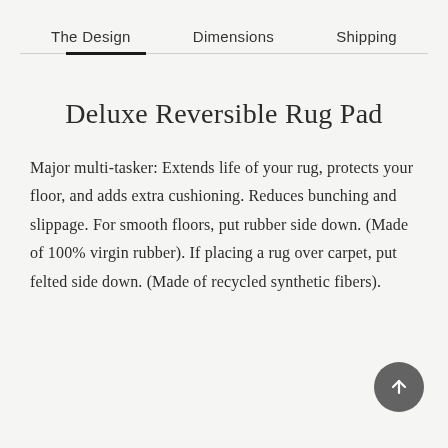The Design   Dimensions   Shipping
Deluxe Reversible Rug Pad
Major multi-tasker: Extends life of your rug, protects your floor, and adds extra cushioning. Reduces bunching and slippage. For smooth floors, put rubber side down. (Made of 100% virgin rubber). If placing a rug over carpet, put felted side down. (Made of recycled synthetic fibers).